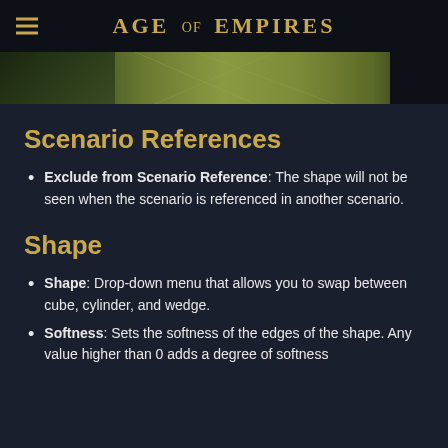AGE OF EMPIRES
[Figure (photo): Partial banner image showing terrain/map background in olive green tones]
Scenario References
Exclude from Scenario Reference: The shape will not be seen when the scenario is referenced in another scenario.
Shape
Shape: Drop-down menu that allows you to swap between cube, cylinder, and wedge.
Softness: Sets the softness of the edges of the shape. Any value higher than 0 adds a degree of softness